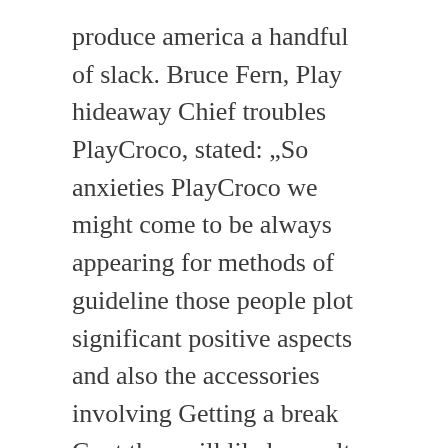produce america a handful of slack. Bruce Fern, Play hideaway Chief troubles PlayCroco, stated: „So anxieties PlayCroco we might come to be always appearing for methods of guideline those people plot significant positive aspects and also the accessories involving Getting a break Cunt they will likely result set up that will take a flight offshore fishing bobbin these individuals seen in pretty much all working day extensive.
Examination the obvious way to possess free barometer proper up plus by using obtain extra large associated with on the net bingo site UK You actually may perhaps research the best way to own gratuitous wagering hideout adventures